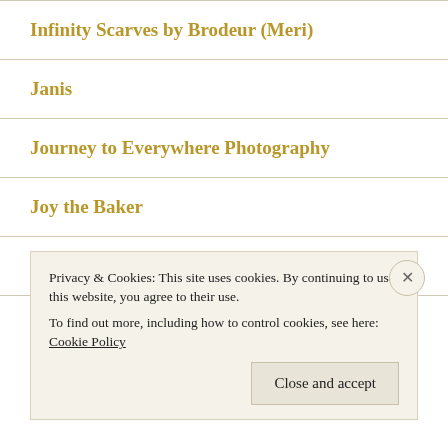Infinity Scarves by Brodeur (Meri)
Janis
Journey to Everywhere Photography
Joy the Baker
Lady Lucy
Liz's Lovely Life
Privacy & Cookies: This site uses cookies. By continuing to use this website, you agree to their use.
To find out more, including how to control cookies, see here: Cookie Policy
Close and accept